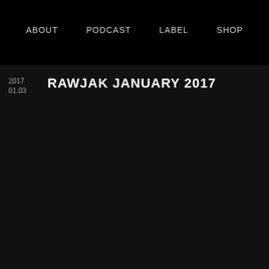ABOUT   PODCAST   LABEL   SHOP
2017
01.03
RAWJAK JANUARY 2017